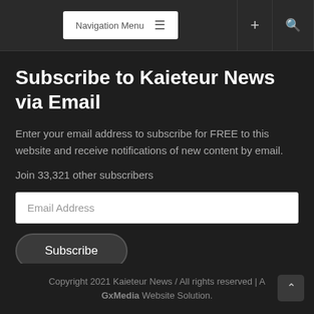Navigation Menu ≡  +  🔍
Subscribe to Kaieteur News via Email
Enter your email address to subscribe for FREE to this website and receive notifications of new content by email.
Join 33,321 other subscribers
Email Address
Subscribe
Copyright 2021 Kaieteur News / All rights reserved | A GxMedia Website Solution.